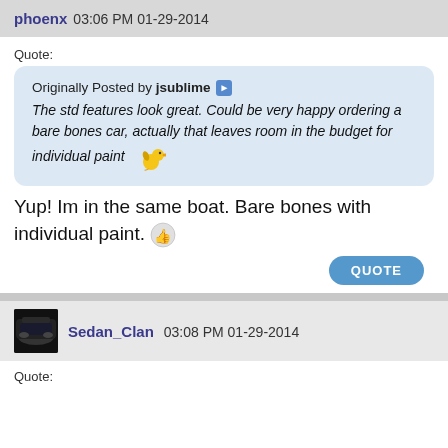phoenx 03:06 PM 01-29-2014
Quote:
Originally Posted by jsublime
The std features look great. Could be very happy ordering a bare bones car, actually that leaves room in the budget for individual paint
Yup! Im in the same boat. Bare bones with individual paint.
QUOTE
Sedan_Clan 03:08 PM 01-29-2014
Quote: